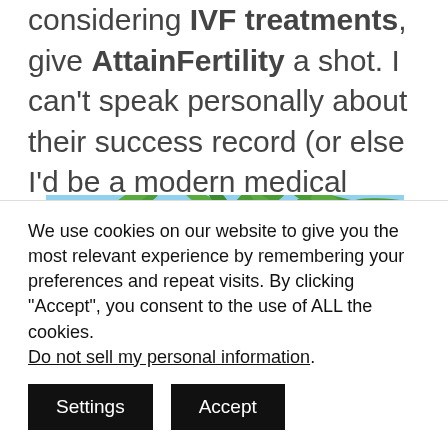considering IVF treatments, give AttainFertility a shot. I can't speak personally about their success record (or else I'd be a modern medical miracle!), but I can at least confirm that they are indeed good people.
[Figure (photo): Photo of palm trees shot from below against a blue sky]
We use cookies on our website to give you the most relevant experience by remembering your preferences and repeat visits. By clicking "Accept", you consent to the use of ALL the cookies. Do not sell my personal information.